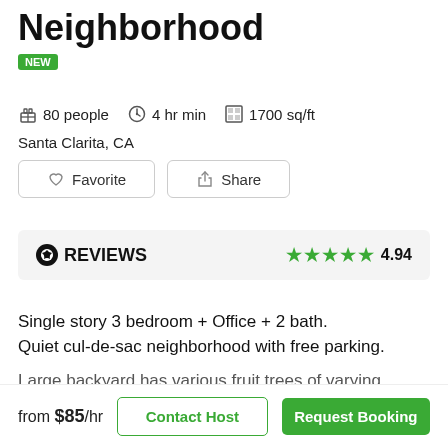Neighborhood
NEW
80 people  4 hr min  1700 sq/ft
Santa Clarita, CA
Favorite  Share
REVIEWS  ★★★★★ 4.94
Single story 3 bedroom + Office + 2 bath. Quiet cul-de-sac neighborhood with free parking.
Large backyard has various fruit trees of varying
from $85/hr  Contact Host  Request Booking